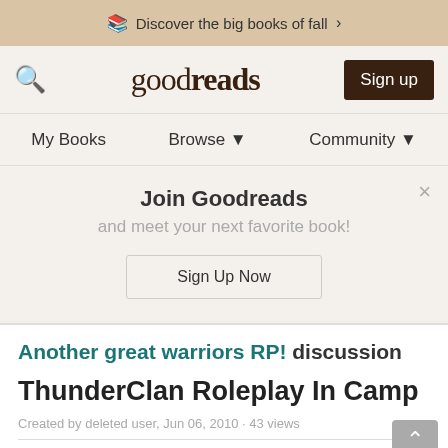Discover the big books of fall >
[Figure (screenshot): Goodreads logo with search icon and Sign up button]
My Books   Browse ▼   Community ▼
Join Goodreads
and meet your next favorite book!
Sign Up Now
Another great warriors RP! discussion
ThunderClan Roleplay In Camp
Created by deleted user, Jun 06, 2010 · 43 views
deleted user ((rp))